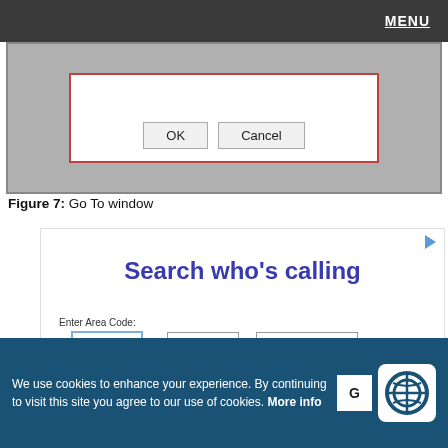MENU
[Figure (screenshot): Dialog box with OK and Cancel buttons shown on grey background]
Figure 7: Go To window
[Figure (screenshot): Advertisement: Search who's calling - phone number input with area code, prefix, number fields and green SEARCH button. Powered By text below.]
We use cookies to enhance your experience. By continuing to visit this site you agree to our use of cookies. More info